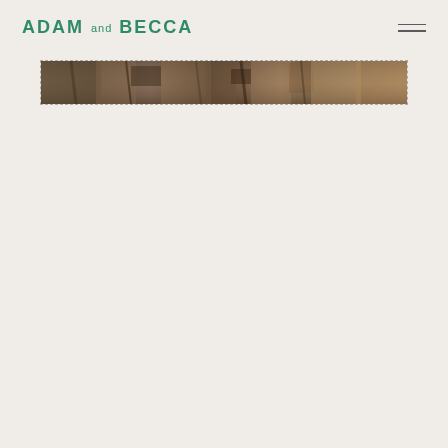ADAM AND BECCA
[Figure (photo): A wide horizontal banner image showing a textured natural landscape scene with muted brown, rust, and dark tones — resembling dry grass, bark, or terrain.]